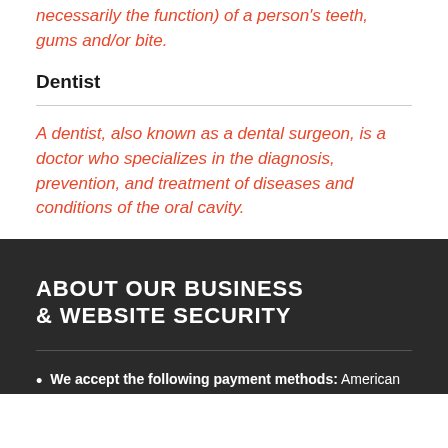necessarily the function) of a person's teeth, gums and/or bite.
Dentist
A dentist, also known as a dental surgeon, is a doctor who specializes in the diagnosis, prevention, and treatment of diseases and conditions of the oral cavity.
ABOUT OUR BUSINESS & WEBSITE SECURITY
We accept the following payment methods: American